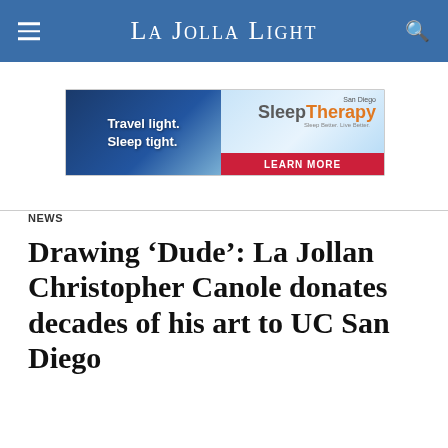La Jolla Light
[Figure (other): Advertisement banner for San Diego Sleep Therapy: 'Travel light. Sleep tight.' with a Learn More button]
ADVERTISEMENT
NEWS
Drawing ‘Dude’: La Jollan Christopher Canole donates decades of his art to UC San Diego